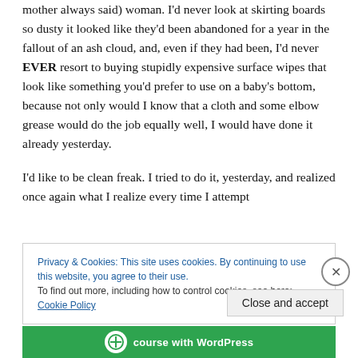mother always said) woman. I'd never look at skirting boards so dusty it looked like they'd been abandoned for a year in the fallout of an ash cloud, and, even if they had been, I'd never EVER resort to buying stupidly expensive surface wipes that look like something you'd prefer to use on a baby's bottom, because not only would I know that a cloth and some elbow grease would do the job equally well, I would have done it already yesterday.
I'd like to be clean freak. I tried to do it, yesterday, and realized once again what I realize every time I attempt
Privacy & Cookies: This site uses cookies. By continuing to use this website, you agree to their use.
To find out more, including how to control cookies, see here: Cookie Policy
[Figure (screenshot): WordPress promotional bar at the bottom of the page showing a WordPress logo icon and text 'course with WordPress']